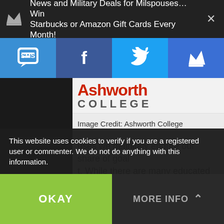News and Military Deals for Milspouses…Win Starbucks or Amazon Gift Cards Every Month!
[Figure (screenshot): Social sharing toolbar with SMS, Facebook, Twitter, and crown/notification buttons]
[Figure (logo): Ashworth College logo — red stylized text 'Ashworth' above gray 'COLLEGE']
Image Credit: Ashworth College
uses we definitely endure our share of goal t. While there are many educated military are alot of spouses looking for affordable h their education and who understand the eryday I receive email from wives asking special benefits for military spouses.
This website uses cookies to verify if you are a registered user or commenter. We do not do anything with this information.
OKAY
MORE INFO